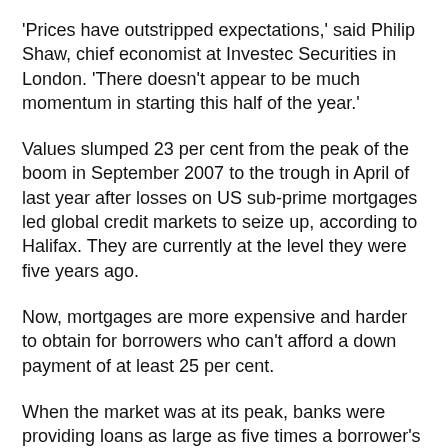'Prices have outstripped expectations,' said Philip Shaw, chief economist at Investec Securities in London. 'There doesn't appear to be much momentum in starting this half of the year.'
Values slumped 23 per cent from the peak of the boom in September 2007 to the trough in April of last year after losses on US sub-prime mortgages led global credit markets to seize up, according to Halifax. They are currently at the level they were five years ago.
Now, mortgages are more expensive and harder to obtain for borrowers who can't afford a down payment of at least 25 per cent.
When the market was at its peak, banks were providing loans as large as five times a borrower's salary. That helped lift the average house price to a record 6.2 times earnings, compared with the long-term average of 3.7 times, according to Capital Economics Ltd. That ratio has since fallen to 5.2.